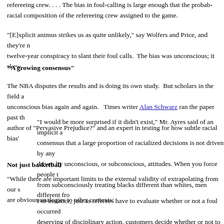refereeing crew. . . . The bias in foul-calling is large enough that the probability of a call depends on the racial composition of the refereeing crew assigned to the game.
"[E]xplicit animus strikes us as quite unlikely," say Wolfers and Price, and they're not imagining a twelve-year conspiracy to slant their foul calls.  The bias was unconscious; it skewed the calls.
"A growing consensus"
The NBA disputes the results and is doing its own study.  But scholars in the field are finding unconscious bias again and again.   Times writer Alan Schwarz ran the paper past the author of "Pervasive Prejudice?" and an expert in testing for how subtle racial bias'
“I would be more surprised if it didn’t exist,” Mr. Ayres said of an implicit a consensus that a large proportion of racialized decisions is not driven by any driven by unconscious, or subconscious, attitudes. When you force people t from subconsciously treating blacks different than whites, men different fro
Not just basketball
"While there are important limits to the external validity of extrapolating from our s are obvious analogies to other contexts:
For instance, just as referees have to evaluate whether or not a foul occurred deserving of disciplinary action, customers decide whether or not to trust pr judges decide who to sentence, and officers decide not only who to arrest, b suspect is reaching  for his gun, or his wallet. The stakes surrounding these guide actions beyond the basketball court.